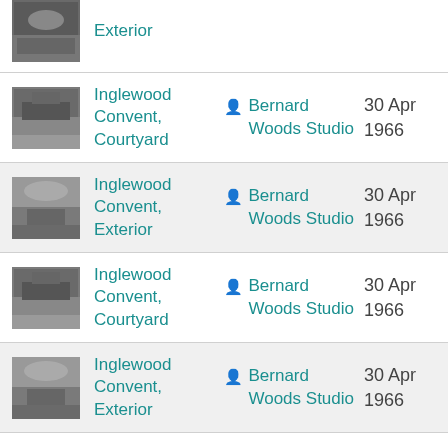Exterior — Bernard Woods Studio — 30 Apr 1966
Inglewood Convent, Courtyard — Bernard Woods Studio — 30 Apr 1966
Inglewood Convent, Exterior — Bernard Woods Studio — 30 Apr 1966
Inglewood Convent, Courtyard — Bernard Woods Studio — 30 Apr 1966
Inglewood Convent, Exterior — Bernard Woods Studio — 30 Apr 1966